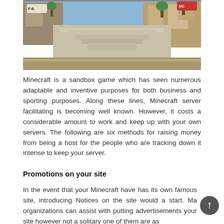[Figure (screenshot): Minecraft game screenshot showing a blocky stone pyramid/temple structure with trees, colorful signs, and sandy terrain under a blue sky.]
Minecraft is a sandbox game which has seen numerous adaptable and inventive purposes for both business and sporting purposes. Along these lines, Minecraft server facilitating is becoming well known. However, it costs a considerable amount to work and keep up with your own servers. The following are six methods for raising money from being a host for the people who are tracking down it intense to keep your server.
Promotions on your site
In the event that your Minecraft have has its own famous site, introducing Notices on the site would a start. Ma organizations can assist with putting advertisements your site however not a solitary one of them are as